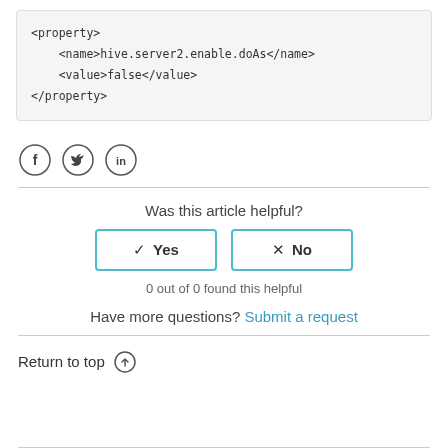<property>
    <name>hive.server2.enable.doAs</name>
    <value>false</value>
</property>
[Figure (other): Social share icons: Facebook, Twitter, LinkedIn]
Was this article helpful?
✓ Yes   ✗ No
0 out of 0 found this helpful
Have more questions? Submit a request
Return to top ↑